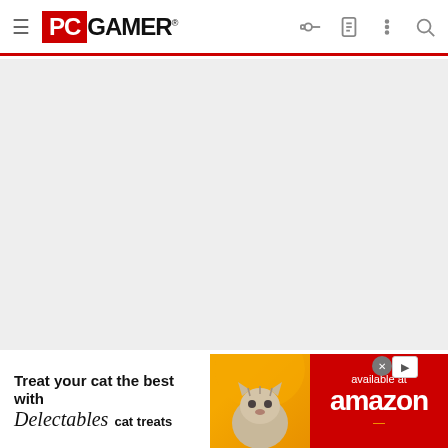PC GAMER
[Figure (other): Gray placeholder advertisement area]
mainer
Nov 27, 2020  812  2,322  6,270
[Figure (infographic): Bottom banner advertisement: Treat your cat the best with Delectables cat treats, available at amazon]